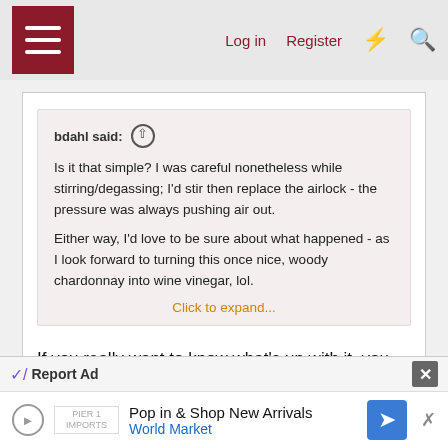Log in   Register
bdahl said: ↑

Is it that simple? I was careful nonetheless while stirring/degassing; I'd stir then replace the airlock - the pressure was always pushing air out.

Either way, I'd love to be sure about what happened - as I look forward to turning this once nice, woody chardonnay into wine vinegar, lol.

Click to expand...
If you really want to know what's up with it, you could send a bottle to a wine lab and have them run tests on it. I don't know if testing can tell you that it's oxidized or
Report Ad
Pop in & Shop New Arrivals
World Market